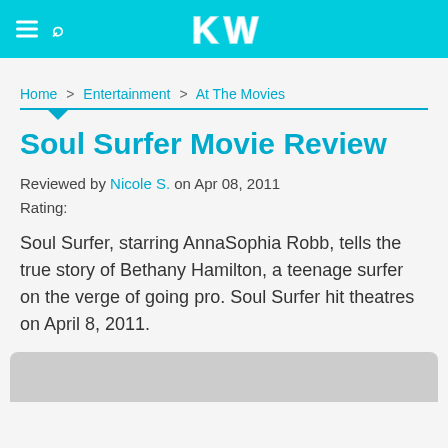KW
Home > Entertainment > At The Movies
Soul Surfer Movie Review
Reviewed by Nicole S. on Apr 08, 2011
Rating:
Soul Surfer, starring AnnaSophia Robb, tells the true story of Bethany Hamilton, a teenage surfer on the verge of going pro. Soul Surfer hit theatres on April 8, 2011.
[Figure (photo): Gray image placeholder at bottom of page]